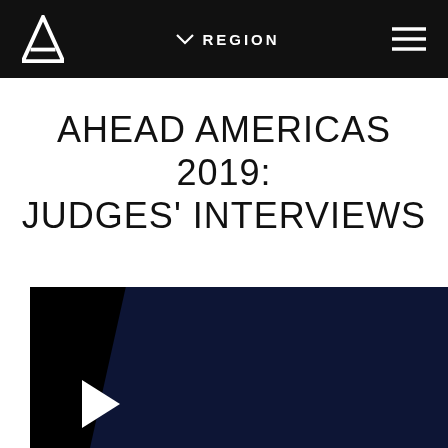AHEAD logo | REGION | hamburger menu
AHEAD AMERICAS 2019: JUDGES' INTERVIEWS
[Figure (screenshot): Video thumbnail with dark navy/black background and a white play button triangle in the lower left area]